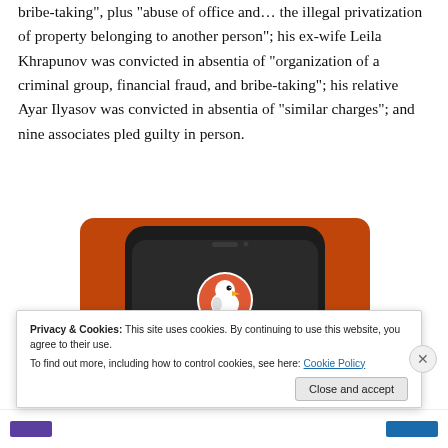bribe-taking", plus "abuse of office and... the illegal privatization of property belonging to another person"; his ex-wife Leila Khrapunov was convicted in absentia of "organization of a criminal group, financial fraud, and bribe-taking"; his relative Ayar Ilyasov was convicted in absentia of "similar charges"; and nine associates pled guilty in person.
[Figure (screenshot): Screenshot of a smartphone displaying the DuckDuckGo app logo (duck icon in orange and white circle) on a dark phone screen, set against an orange background.]
Privacy & Cookies: This site uses cookies. By continuing to use this website, you agree to their use.
To find out more, including how to control cookies, see here: Cookie Policy